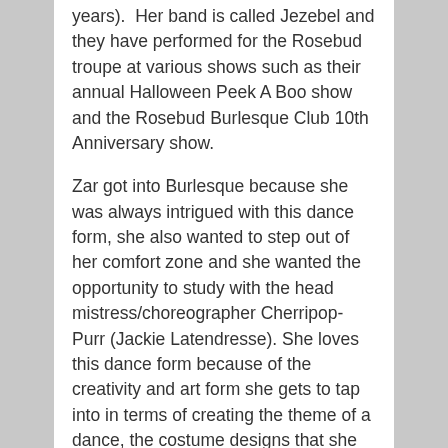years).  Her band is called Jezebel and they have performed for the Rosebud troupe at various shows such as their annual Halloween Peek A Boo show and the Rosebud Burlesque Club 10th Anniversary show.
Zar got into Burlesque because she was always intrigued with this dance form, she also wanted to step out of her comfort zone and she wanted the opportunity to study with the head mistress/choreographer Cherripop-Purr (Jackie Latendresse). She loves this dance form because of the creativity and art form she gets to tap into in terms of creating the theme of a dance, the costume designs that she has to come up, picking the music and putting the choreography together. When it all comes together, it truly is a satisfying feeling.
Zar's advice to anyone thinking of taking Burlesque classes is: just do it! It builds